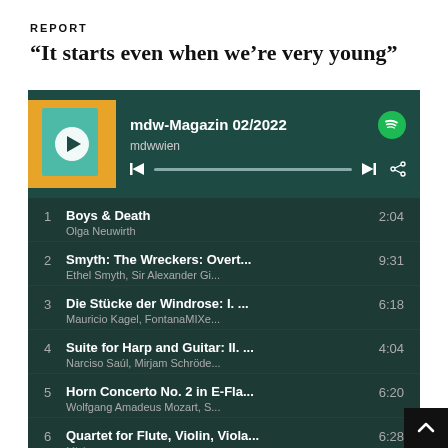REPORT
“It starts even when we’re very young”
[Figure (screenshot): Spotify podcast/playlist widget showing mdw-Magazin 02/2022 by mdwwien with a tracklist: 1. Boys & Death - Olga Neuwirth 2:04, 2. Smyth: The Wreckers: Overt... - Ethel Smyth, Sir Alexander Gi... 9:31, 3. Die Stücke der Windrose: I. ... - Mauricio Kagel, FontanaMIXe... 6:18, 4. Suite for Harp and Guitar: II. ... - Narciso Saúl, Mirjam Schröde... 4:04, 5. Horn Concerto No. 2 in E-Fla... - Wolfgang Amadeus Mozart, S... 6:20, 6. Quartet for Flute, Violin, Viola... - [artist] 6:28]